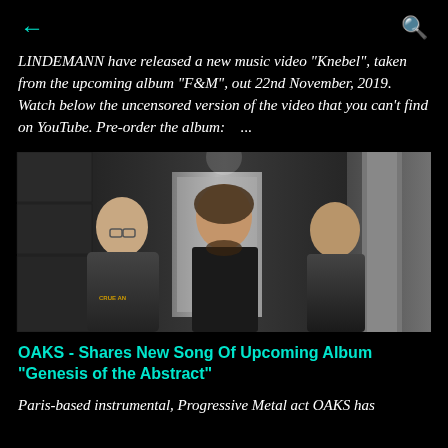← (back arrow)  Q (search icon)
LINDEMANN have released a new music video "Knebel", taken from the upcoming album "F&M", out 22nd November, 2019. Watch below the uncensored version of the video that you can't find on YouTube. Pre-order the album:   ...
[Figure (photo): Three band members (OAKS) standing in a dark industrial corridor. Left person has glasses and tattoos wearing a Crue An shirt. Center person has long hair and a beard wearing a dark button-up shirt. Right person is bald wearing a dark polo shirt.]
OAKS - Shares New Song Of Upcoming Album "Genesis of the Abstract"
Paris-based instrumental, Progressive Metal act OAKS has